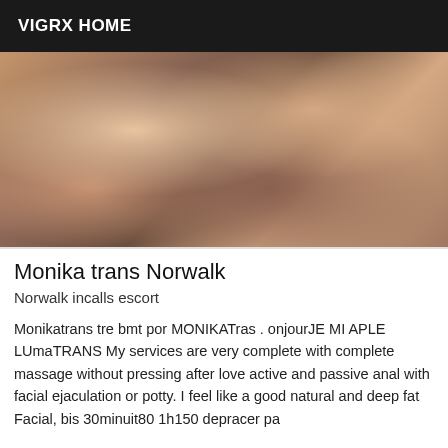VIGRX HOME
[Figure (photo): Close-up photograph showing skin/body detail in warm brown tones]
Monika trans Norwalk
Norwalk incalls escort
Monikatrans tre bmt por MONIKATras . onjourJE MI APLE LUmaTRANS My services are very complete with complete massage without pressing after love active and passive anal with facial ejaculation or potty. I feel like a good natural and deep fat Facial, bis 30minuit80 1h150 depracer pa